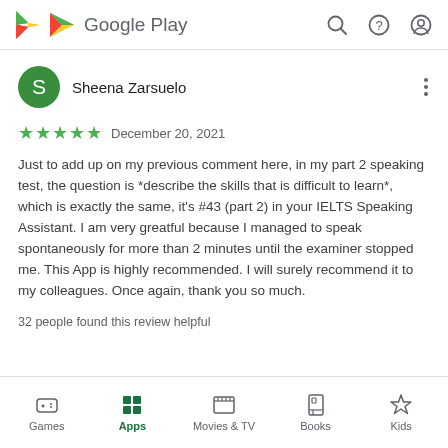Google Play
Sheena Zarsuelo
★★★★★ December 20, 2021
Just to add up on my previous comment here, in my part 2 speaking test, the question is *describe the skills that is difficult to learn*, which is exactly the same, it's #43 (part 2) in your IELTS Speaking Assistant. I am very greatful because I managed to speak spontaneously for more than 2 minutes until the examiner stopped me. This App is highly recommended. I will surely recommend it to my colleagues. Once again, thank you so much.
32 people found this review helpful
Games  Apps  Movies & TV  Books  Kids